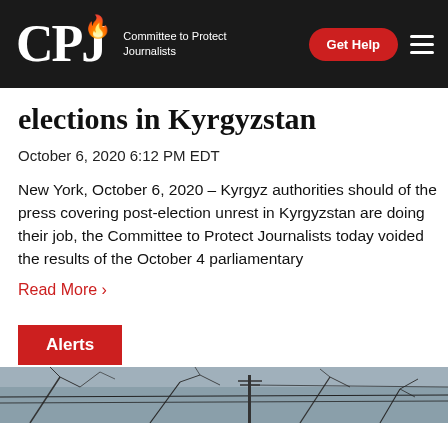CPJ — Committee to Protect Journalists
elections in Kyrgyzstan
October 6, 2020 6:12 PM EDT
New York, October 6, 2020 – Kyrgyz authorities should of the press covering post-election unrest in Kyrgyzsta are doing their job, the Committee to Protect Journalis today voided the results of the October 4 parliamentar
Read More ›
Alerts
[Figure (photo): Photo strip showing bare winter tree branches against a grey sky]